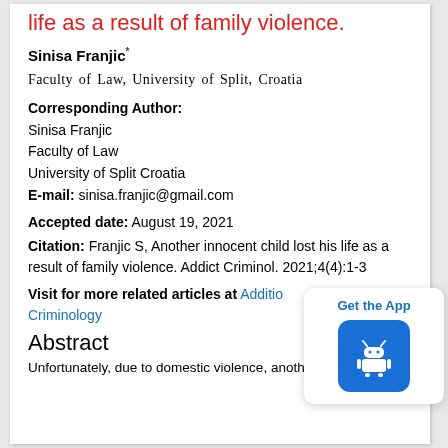life as a result of family violence.
Sinisa Franjic*
Faculty of Law, University of Split, Croatia
Corresponding Author:
Sinisa Franjic
Faculty of Law
University of Split Croatia
E-mail: sinisa.franjic@gmail.com
Accepted date: August 19, 2021
Citation: Franjic S, Another innocent child lost his life as a result of family violence. Addict Criminol. 2021;4(4):1-3
Visit for more related articles at Addiction Criminology
Abstract
Unfortunately, due to domestic violence, another child